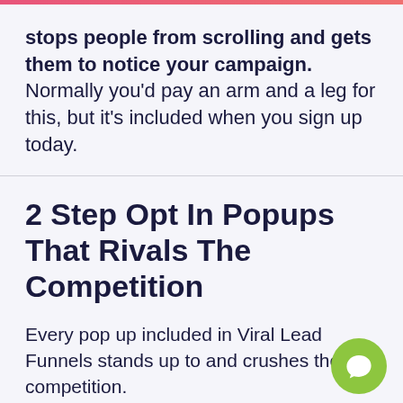stops people from scrolling and gets them to notice your campaign. Normally you'd pay an arm and a leg for this, but it's included when you sign up today.
2 Step Opt In Popups That Rivals The Competition
Every pop up included in Viral Lead Funnels stands up to and crushes the competition.
These sleek designs have been meticulously crafted to boost conversions on every